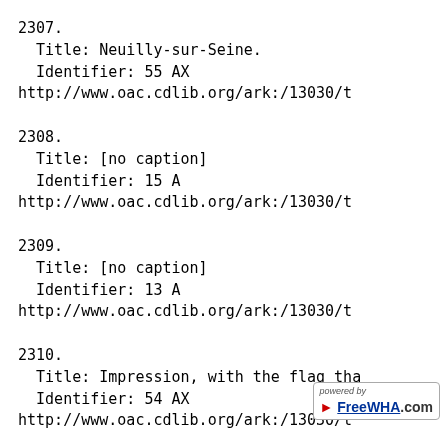2307.
  Title: Neuilly-sur-Seine.
  Identifier: 55 AX
http://www.oac.cdlib.org/ark:/13030/t
2308.
  Title: [no caption]
  Identifier: 15 A
http://www.oac.cdlib.org/ark:/13030/t
2309.
  Title: [no caption]
  Identifier: 13 A
http://www.oac.cdlib.org/ark:/13030/t
2310.
  Title: Impression, with the flag tha
  Identifier: 54 AX
http://www.oac.cdlib.org/ark:/13030/t
[Figure (logo): FreeWHA.com watermark logo with 'powered by' text and red arrow icon]